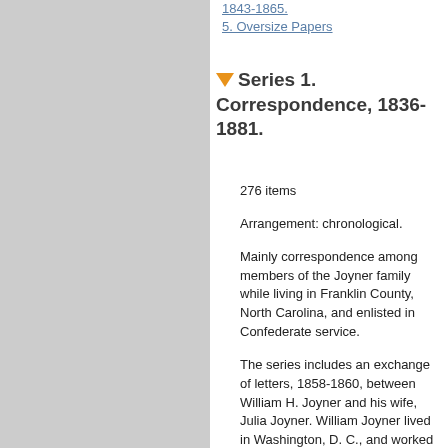1843-1865.
5. Oversize Papers
Series 1. Correspondence, 1836-1881.
276 items
Arrangement: chronological.
Mainly correspondence among members of the Joyner family while living in Franklin County, North Carolina, and enlisted in Confederate service.
The series includes an exchange of letters, 1858-1860, between William H. Joyner and his wife, Julia Joyner. William Joyner lived in Washington, D. C., and worked at the